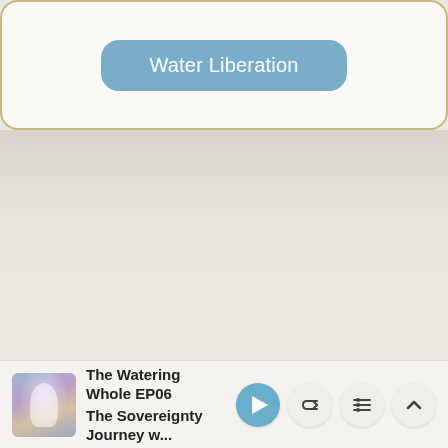Water Liberation
The Watering Whole EP06 The Sovereignty Journey w...